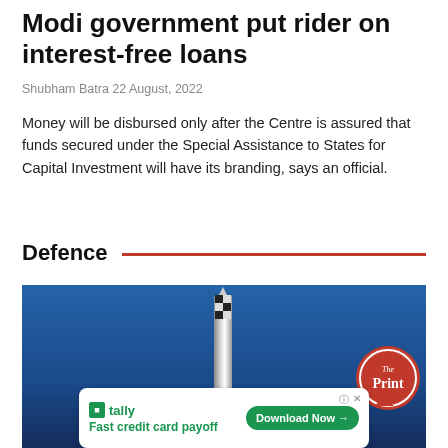Modi government put rider on interest-free loans
Shubham Batra 22 August, 2022
Money will be disbursed only after the Centre is assured that funds secured under the Special Assistance to States for Capital Investment will have its branding, says an official.
Defence
[Figure (photo): A missile or rocket tower against a blue sky background, with The Print logo watermark and an advertisement overlay for Tally showing 'Fast credit card payoff' with a 'Download Now' button.]